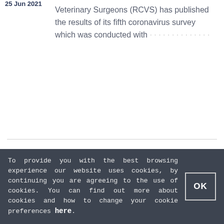Veterinary Surgeons (RCVS) has published the results of its fifth coronavirus survey which was conducted with
Page 1 of 15
USEFUL LINKS
RCVS GUIDANCE
To provide you with the best browsing experience our website uses cookies, by continuing you are agreeing to the use of cookies. You can find out more about cookies and how to change your cookie preferences here.